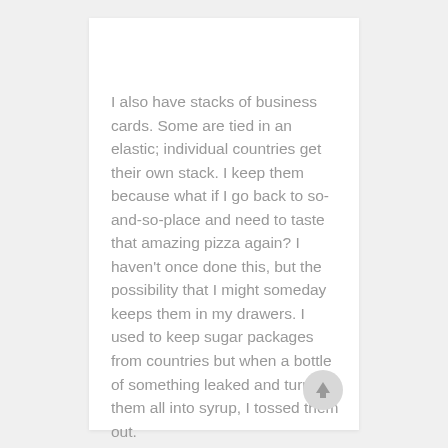I also have stacks of business cards. Some are tied in an elastic; individual countries get their own stack. I keep them because what if I go back to so-and-so-place and need to taste that amazing pizza again? I haven't once done this, but the possibility that I might someday keeps them in my drawers. I used to keep sugar packages from countries but when a bottle of something leaked and turned them all into syrup, I tossed them out.
[Figure (other): Circular up-arrow button with light gray background]